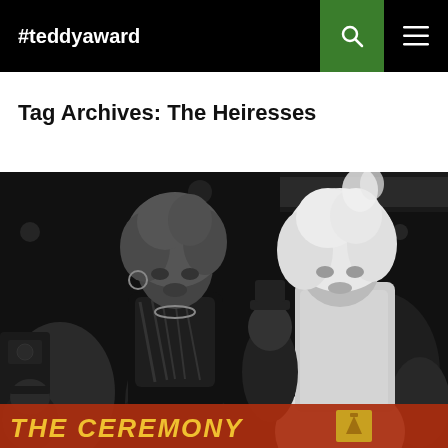#teddyaward
Tag Archives: The Heiresses
[Figure (photo): Black and white photograph of two drag performers at a film ceremony, with a banner reading 'THE CEREMONY' in bold orange-red and gold lettering at the bottom]